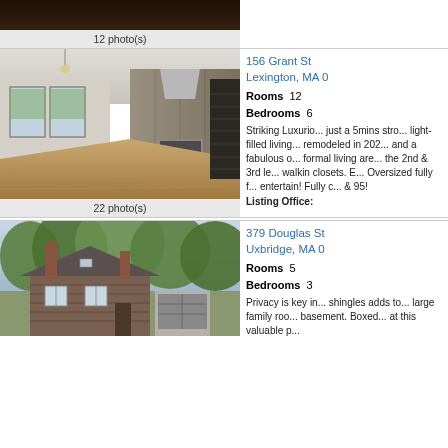[Figure (photo): Top portion of a property photo (dark interior), partially cut off at top]
12 photo(s)
[Figure (photo): Modern luxury kitchen with large island, gray cabinetry, stainless appliances, and hardwood floors]
156 Grant St
Lexington, MA 0
Rooms 12
Bedrooms 6
Striking Luxurio... just a 5mins stro... light-filled living... remodeled in 202... and a fabulous o... formal living are... the 2nd & 3rd le... walkin closets. E... Oversized fully f... entertain! Fully c... & 95!
Listing Office:
22 photo(s)
[Figure (photo): Exterior of a New England style home with cedar shingle siding, brick chimneys, surrounded by trees]
379 Douglas St
Uxbridge, MA 0
Rooms 5
Bedrooms 3
Privacy is key in... shingles adds to... large family roo... basement. Boxed... at this valuable p...